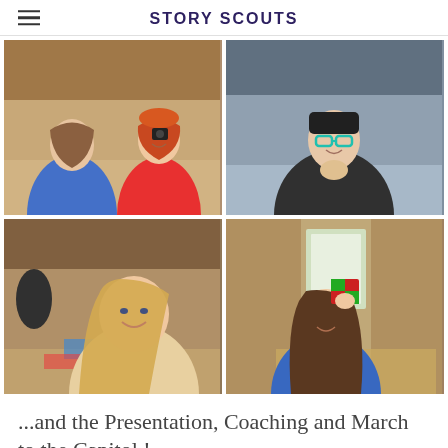STORY SCOUTS
[Figure (photo): Four photos in a 2x2 grid showing children/youth in a log cabin interior working on crafts. Top-left: two girls, one in blue holding something small, one in red holding a camera and smiling. Top-right: a boy with teal glasses holding something small and smiling. Bottom-left: a girl with long blonde hair smiling, with craft materials on table. Bottom-right: a girl in blue holding up a colorful fabric item and smiling.]
...and the Presentation, Coaching and March to the Capitol !